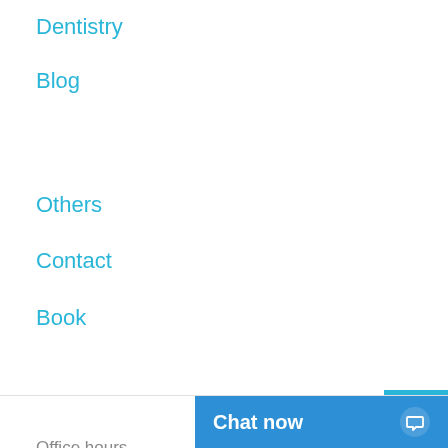Dentistry
Blog
Others
Contact
Book
Office hours
Monday-Friday:
08:00-20:00
Saturday-Sunday:
08:00-16:00
[Figure (other): Scroll to top button - blue square with white upward arrow]
[Figure (other): reCAPTCHA widget showing rotating arrows logo with Privacy and Terms links]
Chat now